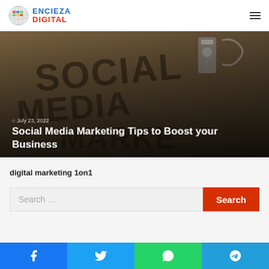Encieza Digital
[Figure (photo): Hero image of Social Media Marketing text on a surface with keys, overlaid with date and title text: July 23, 2022 / Social Media Marketing Tips to Boost your Business]
digital marketing 1on1
Search …
Facebook, Twitter, WhatsApp, Telegram social share buttons